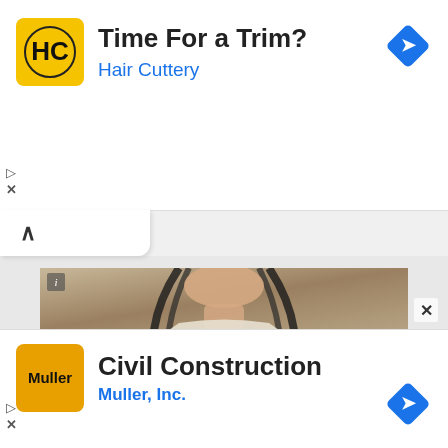[Figure (infographic): Hair Cuttery advertisement banner. Yellow square HC logo on left, text 'Time For a Trim?' in bold black and 'Hair Cuttery' in blue beneath it. Blue navigation diamond icon on top right.]
[Figure (photo): Young woman with long black hair sitting indoors, wearing a light-colored top, smiling at the camera. Small 'i' info icon in top-left corner of photo frame.]
[Figure (infographic): Muller Inc. advertisement banner. Orange square Muller logo on left, text 'Civil Construction' in bold black and 'Muller, Inc.' in blue beneath it. Blue navigation diamond icon on bottom right.]